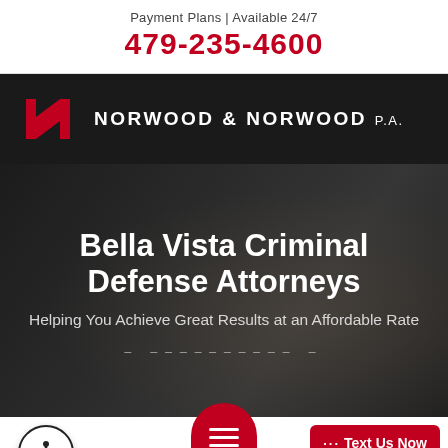Payment Plans | Available 24/7
479-235-4600
[Figure (logo): Norwood & Norwood P.A. logo with stylized red N icon on black navigation bar]
Bella Vista Criminal Defense Attorneys
Helping You Achieve Great Results at an Affordable Rate